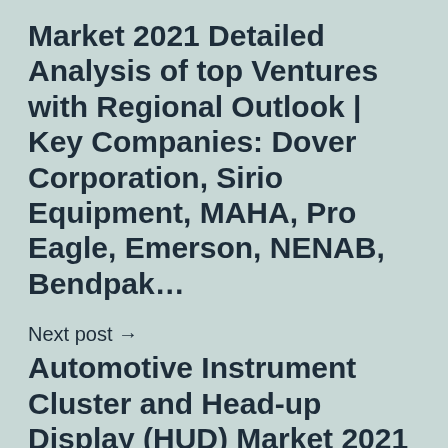Market 2021 Detailed Analysis of top Ventures with Regional Outlook | Key Companies: Dover Corporation, Sirio Equipment, MAHA, Pro Eagle, Emerson, NENAB, Bendpak…
Next post →
Automotive Instrument Cluster and Head-up Display (HUD) Market 2021 Latest Insights, Growth Rate, Future Trends and Forecast | Oprating Vendors: Bosch, BMW, Nippon Seiki, Continental, Honda, Microv…